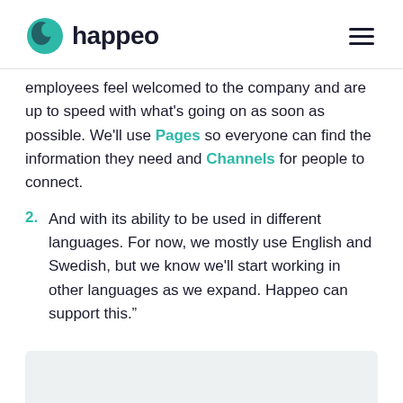happeo
employees feel welcomed to the company and are up to speed with what's going on as soon as possible. We'll use Pages so everyone can find the information they need and Channels for people to connect.
2. And with its ability to be used in different languages. For now, we mostly use English and Swedish, but we know we'll start working in other languages as we expand. Happeo can support this."